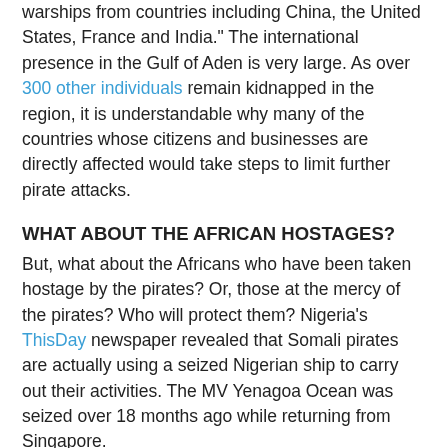warships from countries including China, the United States, France and India." The international presence in the Gulf of Aden is very large. As over 300 other individuals remain kidnapped in the region, it is understandable why many of the countries whose citizens and businesses are directly affected would take steps to limit further pirate attacks.
WHAT ABOUT THE AFRICAN HOSTAGES?
But, what about the Africans who have been taken hostage by the pirates? Or, those at the mercy of the pirates? Who will protect them? Nigeria's ThisDay newspaper revealed that Somali pirates are actually using a seized Nigerian ship to carry out their activities. The MV Yenagoa Ocean was seized over 18 months ago while returning from Singapore.
"The fate of the eight-man crew on board the ship when it was seized by the pirates was not known."
Assuming that crew consisted of mainly Nigerians, what has the Nigerian government done to find them and have them returned to their families? The newspaper indicates that Yar'Adua